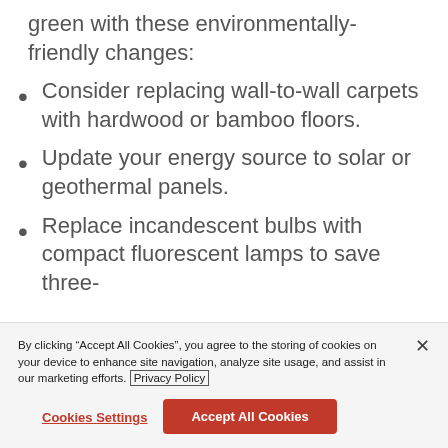green with these environmentally-friendly changes:
Consider replacing wall-to-wall carpets with hardwood or bamboo floors.
Update your energy source to solar or geothermal panels.
Replace incandescent bulbs with compact fluorescent lamps to save three-quarters electricity
By clicking “Accept All Cookies”, you agree to the storing of cookies on your device to enhance site navigation, analyze site usage, and assist in our marketing efforts. Privacy Policy
Cookies Settings
Accept All Cookies